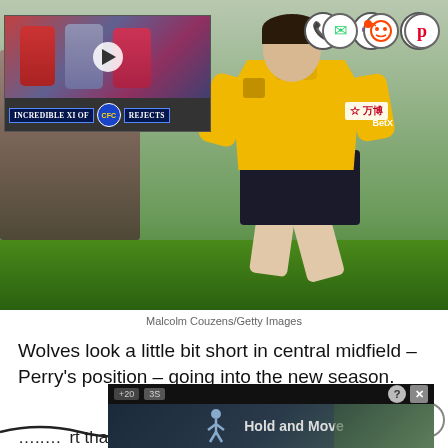[Figure (photo): Wolves footballer in yellow/gold kit running on pitch, with video thumbnail overlay bottom-left showing 'Incredible XI of Chelsea Rejects', social sharing icons (WhatsApp, Reddit, Pinterest) top-right]
Malcolm Couzens/Getty Images
Wolves look a little bit short in central midfield – Perry's position – going into the new season.
...report that Owen Otasowie i...
[Figure (screenshot): Advertisement banner: 'Hold and Move' app ad with stick figure icon, +20 and 3S labels, ? and X close buttons]